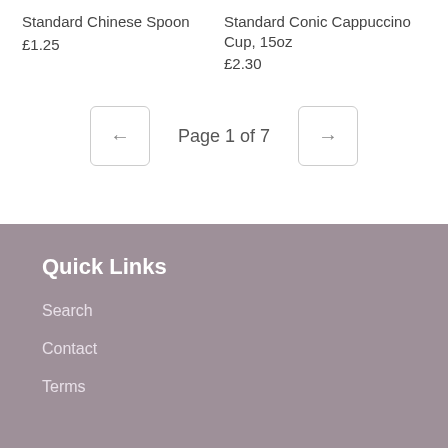Standard Chinese Spoon
£1.25
Standard Conic Cappuccino Cup, 15oz
£2.30
Page 1 of 7
Quick Links
Search
Contact
Terms